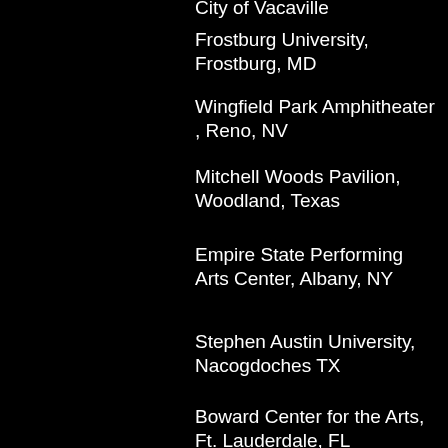City of Vacaville
Frostburg University, Frostburg, MD
Wingfield Park Amphitheater , Reno, NV
Mitchell Woods Pavilion, Woodland, Texas
Empire State Performing Arts Center, Albany, NY
Stephen Austin University, Nacogdoches TX
Boward Center for the Arts, Ft. Lauderdale, FL
Wells Fargo Center, Santa Rosa, CA
Peace Center, Greenville, SC
Thousand Oaks Civic Arts Plaza, Thousand Oaks, CA
Count Basie Theatre, Red Bank, NJ
Governor State University, University